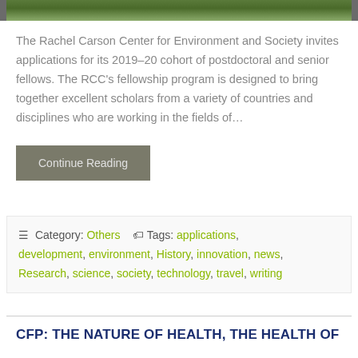[Figure (photo): Top portion of a nature/greenery photo, partially visible]
The Rachel Carson Center for Environment and Society invites applications for its 2019–20 cohort of postdoctoral and senior fellows. The RCC's fellowship program is designed to bring together excellent scholars from a variety of countries and disciplines who are working in the fields of…
Continue Reading
≡ Category: Others  🏷 Tags: applications, development, environment, History, innovation, news, Research, science, society, technology, travel, writing
CFP: THE NATURE OF HEALTH, THE HEALTH OF NATURE: PERSPECTIVES FROM HISTORY AND…